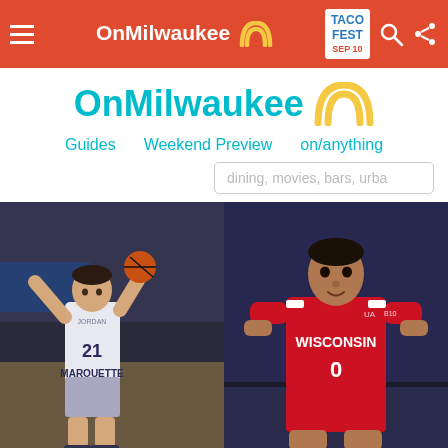OnMilwaukee - navigation bar with hamburger menu, OnMilwaukee brand, Taco Fest Sep 10 badge, search and share icons
[Figure (logo): OnMilwaukee logo with cyan text and golden arch icon]
Guides   Weekend Preview   on/anything
dining, movies, bars, urba (search placeholder)
[Figure (photo): Basketball player in Marquette #21 white jersey shooting a basketball]
[Figure (photo): Basketball player in Wisconsin #0 red jersey in defensive stance]